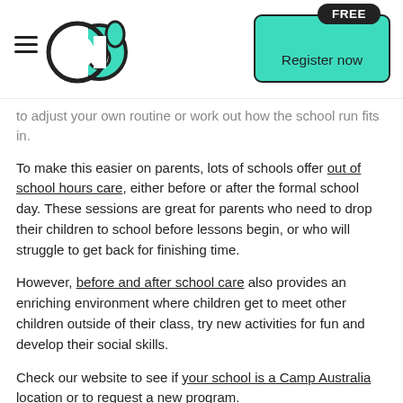[Figure (logo): Camp Australia logo: two overlapping circular letters with a teal elephant shape, black outline]
to adjust your own routine or work out how the school run fits in.
To make this easier on parents, lots of schools offer out of school hours care, either before or after the formal school day. These sessions are great for parents who need to drop their children to school before lessons begin, or who will struggle to get back for finishing time.
However, before and after school care also provides an enriching environment where children get to meet other children outside of their class, try new activities for fun and develop their social skills.
Check our website to see if your school is a Camp Australia location or to request a new program.